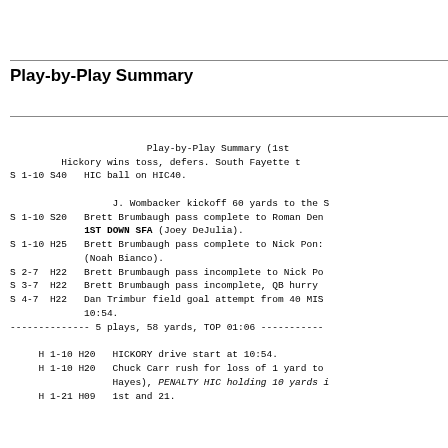Play-by-Play Summary
Play-by-Play Summary (1st
Hickory wins toss, defers. South Fayette t
S 1-10 S40   HIC ball on HIC40.

                  J. Wombacker kickoff 60 yards to the S
S 1-10 S20   Brett Brumbaugh pass complete to Roman Den
             1ST DOWN SFA (Joey DeJulia).
S 1-10 H25   Brett Brumbaugh pass complete to Nick Pon:
             (Noah Bianco).
S 2-7  H22   Brett Brumbaugh pass incomplete to Nick Po
S 3-7  H22   Brett Brumbaugh pass incomplete, QB hurry
S 4-7  H22   Dan Trimbur field goal attempt from 40 MIS
             10:54.
--------------- 5 plays, 58 yards, TOP 01:06 -----------

     H 1-10 H20   HICKORY drive start at 10:54.
     H 1-10 H20   Chuck Carr rush for loss of 1 yard to
                  Hayes), PENALTY HIC holding 10 yards i
     H 1-21 H09   1st and 21.